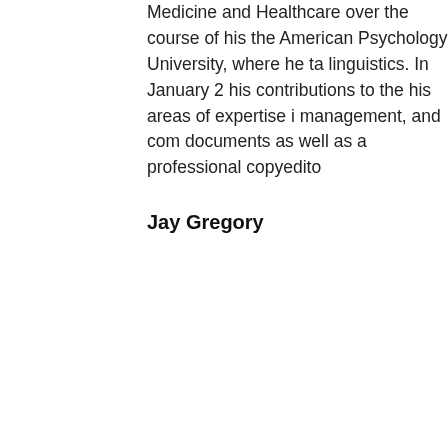Medicine and Healthcare over the course of his the American Psychology University, where he ta linguistics. In January 2 his contributions to the his areas of expertise i management, and com documents as well as a professional copyedito
Jay Gregory
Dr. Jay Gregory earned specializing in spectros